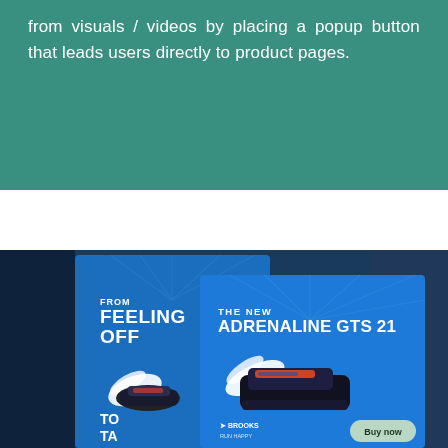from visuals / videos by placing a popup button that leads users directly to product pages.
[Figure (photo): Two overlapping blue digital advertisement panels for Brooks running shoes. The left panel reads 'FROM FEELING OFF' with a winged running shoe and partial text 'TO TA...' The right/front panel shows 'THE NEW ADRENALINE GTS 21' with a winged Brooks running shoe, Brooks logo at the bottom, and a 'Buy now' button.]